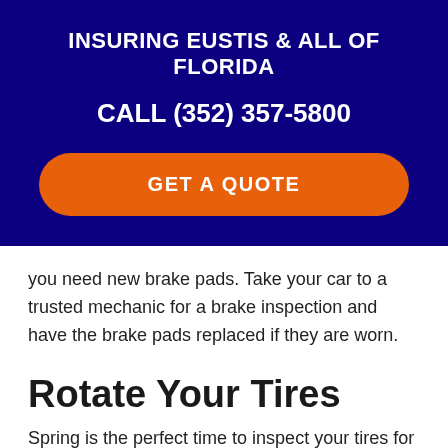INSURING EUSTIS & ALL OF FLORIDA
CALL (352) 357-5800
GET A QUOTE
you need new brake pads. Take your car to a trusted mechanic for a brake inspection and have the brake pads replaced if they are worn.
Rotate Your Tires
Spring is the perfect time to inspect your tires for low